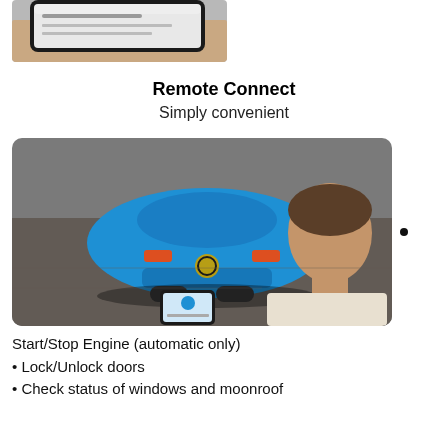[Figure (photo): Hand holding a smartphone showing a screen with text, viewed from above at an angle]
Remote Connect
Simply convenient
[Figure (photo): Man looking at a blue Toyota hatchback car from above, holding a smartphone with the Toyota app open]
Start/Stop Engine (automatic only)
Lock/Unlock doors
Check status of windows and moonroof